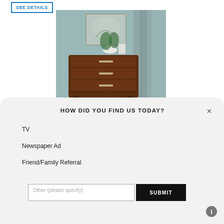SEE DETAILS
[Figure (photo): A dark brown wooden chest of drawers with silver handles, displayed on a teal/grey background with curtains and a white vase with plant on top.]
HOW DID YOU FIND US TODAY?
TV
Newspaper Ad
Friend/Family Referral
Other (please specify)
SUBMIT